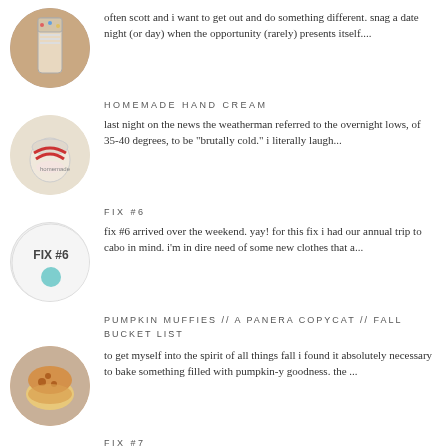[Figure (photo): Circular thumbnail of a jar with sprinkles]
often scott and i want to get out and do something different. snag a date night (or day) when the opportunity (rarely) presents itself....
HOMEMADE HAND CREAM
[Figure (photo): Circular thumbnail of a small jar with red ribbon labeled homemade]
last night on the news the weatherman referred to the overnight lows, of 35-40 degrees, to be "brutally cold." i literally laugh...
FIX #6
[Figure (photo): Circular thumbnail showing FIX #6 card with turquoise circle]
fix #6 arrived over the weekend. yay! for this fix i had our annual trip to cabo in mind. i'm in dire need of some new clothes that a...
PUMPKIN MUFFIES // A PANERA COPYCAT // FALL BUCKET LIST
[Figure (photo): Circular thumbnail of a pumpkin muffin broken open]
to get myself into the spirit of all things fall i found it absolutely necessary to bake something filled with pumpkin-y goodness. the ...
FIX #7